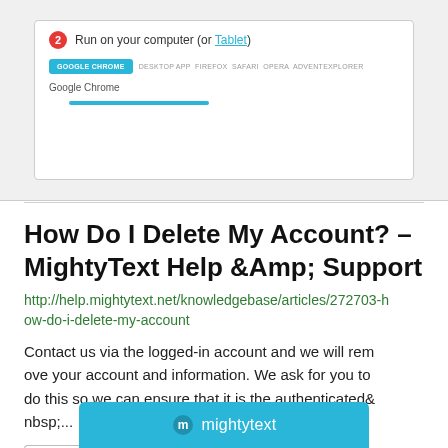[Figure (screenshot): Screenshot showing a browser selection UI with 'Run on your computer (or Tablet)' text, browser tabs including Google Chrome highlighted in teal, and a progress bar.]
How Do I Delete My Account? – MightyText Help &Amp; Support
http://help.mightytext.net/knowledgebase/articles/272703-how-do-i-delete-my-account
Contact us via the logged-in account and we will remove your account and information. We ask for you to do this so we can ensure that it is the authenticated&nbsp;...
Page Active	Last Checked: 85 days ago
[Figure (screenshot): MightyText teal/cyan branded bar at the bottom with mightytext logo and name in white.]